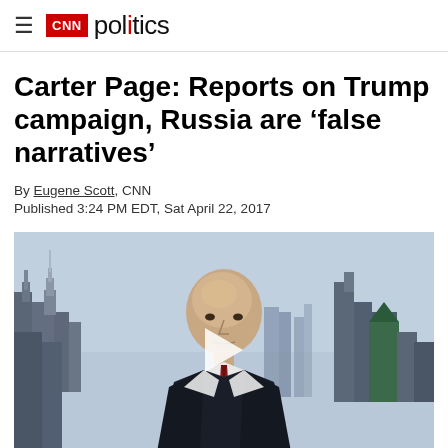CNN Politics
Carter Page: Reports on Trump campaign, Russia are ‘false narratives’
By Eugene Scott, CNN
Published 3:24 PM EDT, Sat April 22, 2017
[Figure (photo): Carter Page in a dark suit with a red tie, seated in front of a New York City skyline backdrop. A white play button triangle is overlaid on the video thumbnail.]